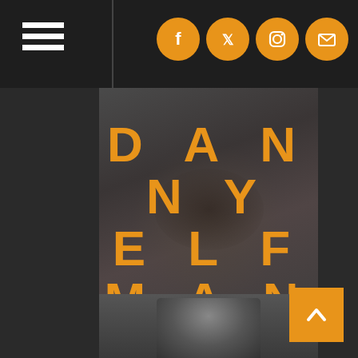[Figure (screenshot): Website screenshot showing Danny Elfman 'Bigger. Messier.' album promotional page with navigation bar, social media icons, large distorted face background, orange text overlays, and album information]
≡  [Facebook] [Twitter] [Instagram] [Email]
DANNY ELFMAN
BIGGER. MESSIER.
the new album
available now
includes:
KICK ME (FEAT. IGGY POP)
click to preview
& watch the video